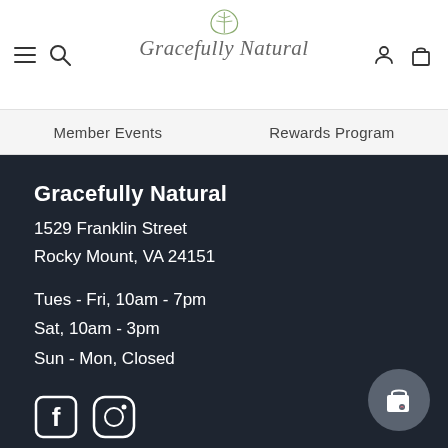Gracefully Natural — website header with navigation icons and logo
Member Events    Rewards Program
Gracefully Natural
1529 Franklin Street
Rocky Mount, VA 24151
Tues - Fri, 10am - 7pm
Sat, 10am - 3pm
Sun - Mon, Closed
[Figure (other): Facebook and Instagram social media icons in white on dark background]
[Figure (other): Floating shopping bag with heart icon button]